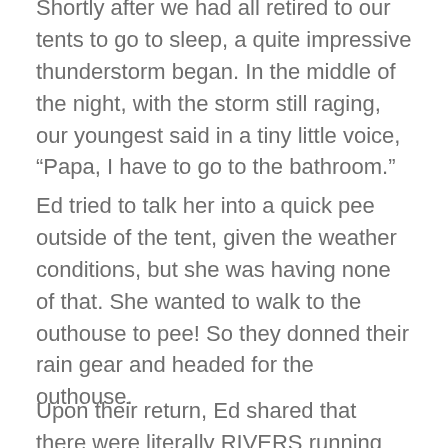Shortly after we had all retired to our tents to go to sleep, a quite impressive thunderstorm began. In the middle of the night, with the storm still raging, our youngest said in a tiny little voice, “Papa, I have to go to the bathroom.”
Ed tried to talk her into a quick pee outside of the tent, given the weather conditions, but she was having none of that. She wanted to walk to the outhouse to pee! So they donned their rain gear and headed for the outhouse.
Upon their return, Ed shared that there were literally RIVERS running